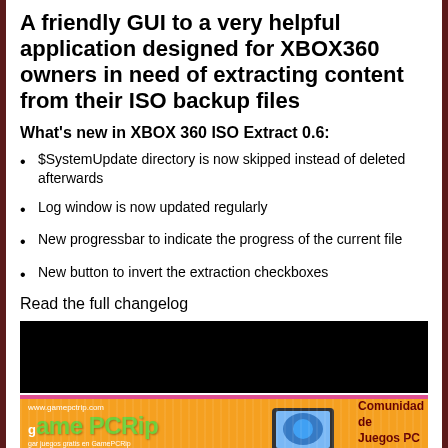A friendly GUI to a very helpful application designed for XBOX360 owners in need of extracting content from their ISO backup files
What's new in XBOX 360 ISO Extract 0.6:
$SystemUpdate directory is now skipped instead of deleted afterwards
Log window is now updated regularly
New progressbar to indicate the progress of the current file
New button to invert the extraction checkboxes
Read the full changelog
[Figure (screenshot): Application screenshot area showing dark/black background]
[Figure (screenshot): GamePCRip.com advertisement banner with orange background showing logo, monitor graphic, and navigation bar with links: INICIO, REGISTRO, DESCARGAS DIRECTAS, GANA MONEY, MANUAL DE LA WEB, HOSTING DE CALIDAD. Tagline: Tu Comunidad de Juegos PC en Descargas Directas....]